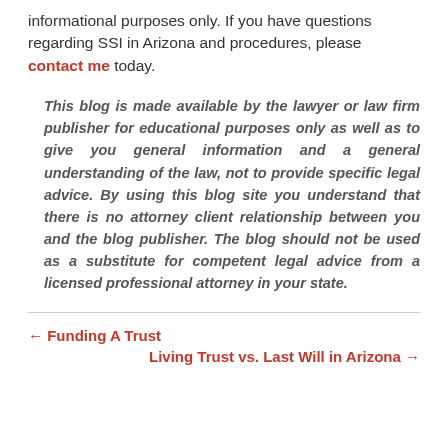informational purposes only. If you have questions regarding SSI in Arizona and procedures, please contact me today.
This blog is made available by the lawyer or law firm publisher for educational purposes only as well as to give you general information and a general understanding of the law, not to provide specific legal advice. By using this blog site you understand that there is no attorney client relationship between you and the blog publisher. The blog should not be used as a substitute for competent legal advice from a licensed professional attorney in your state.
← Funding A Trust
Living Trust vs. Last Will in Arizona →